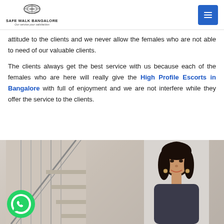SAFE WALK BANGALORE — Our service your satisfaction
attitude to the clients and we never allow the females who are not able to need of our valuable clients.
The clients always get the best service with us because each of the females who are here will really give the High Profile Escorts in Bangalore with full of enjoyment and we are not interfere while they offer the service to the clients.
[Figure (photo): A woman with dark hair smiling, standing in front of a staircase background, with a WhatsApp button icon in the lower left corner.]